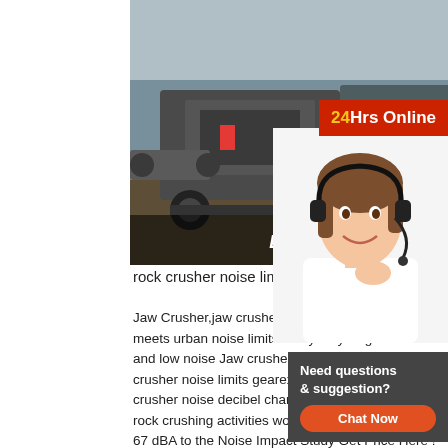[Figure (photo): Large industrial rock crusher/jaw crusher machinery on a dark outdoor site, with text overlay 'Email:lmzgvip@gmail.co']
[Figure (photo): Woman with headset smiling, customer support photo, with '24Hrs Online' red badge overlay]
rock crusher noise limits refo2017.be
Jaw Crusher,jaw crusher price,rock jaw Crus meets urban noise limits Many recycling Litt and low noise Jaw crusher is one of the Inqu crusher noise limits gearex.co.za,commercia crusher noise decibel chart 8 Jan 2014 Nois rock crushing activities would result in noise levels of 67 dBA to the Noise Impact Study Get Price Here ! Opacity Limits For Portable Rock Crushers -
[Figure (photo): Yellow metal lattice tower/crane structure against a blue sky, viewed from below]
[Figure (infographic): Chat widget with text 'Need questions & suggestion?' and a red 'Chat Now' button on dark grey background]